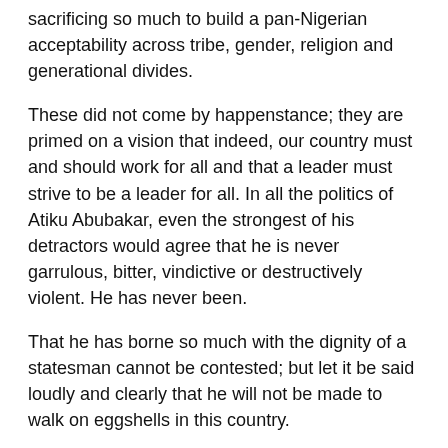sacrificing so much to build a pan-Nigerian acceptability across tribe, gender, religion and generational divides.
These did not come by happenstance; they are primed on a vision that indeed, our country must and should work for all and that a leader must strive to be a leader for all. In all the politics of Atiku Abubakar, even the strongest of his detractors would agree that he is never garrulous, bitter, vindictive or destructively violent. He has never been.
That he has borne so much with the dignity of a statesman cannot be contested; but let it be said loudly and clearly that he will not be made to walk on eggshells in this country.
At a time where all opinion leaders are soberly thinking of how to douse the somewhat lingering tension and reassure the youths of Nigeria that tomorrow holds a better promise, those with the responsibility of solving today’s challenges are in their characteristic manner looking for enemies where none exists.
A Nigerian problem of the gravity of the violence that has left